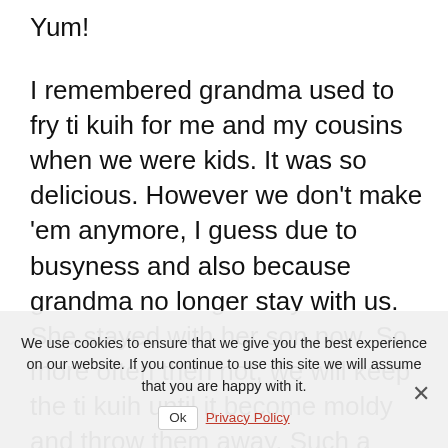Yum!
I remembered grandma used to fry ti kuih for me and my cousins when we were kids. It was so delicious. However we don't make 'em anymore, I guess due to busyness and also because grandma no longer stay with us. She stayed with her son now. So more often then not, we will keep the ti kuih until it become moldy and throw them away. Such a waste right? Then there is one hawker stall that sell fried ti kuih in our town, so whenever we crave for it, we just need to drive there and get it.
I've been meaning to try to fried ti kuih for many years but I always forget about the ti
We use cookies to ensure that we give you the best experience on our website. If you continue to use this site we will assume that you are happy with it.
Ok   Privacy Policy